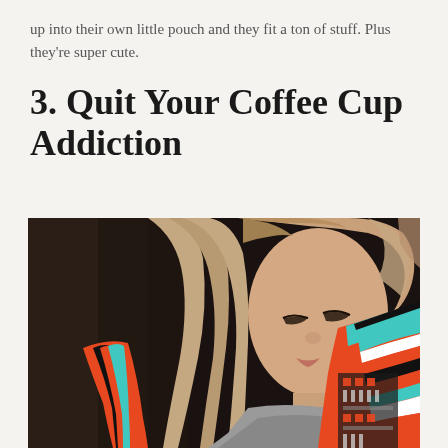up into their own little pouch and they fit a ton of stuff. Plus they're super cute.
3. Quit Your Coffee Cup Addiction
[Figure (photo): A young blonde woman looking downward, wearing a colorful striped orange, teal, black and white blanket-style wrap or poncho over a grey shirt. The background is dark.]